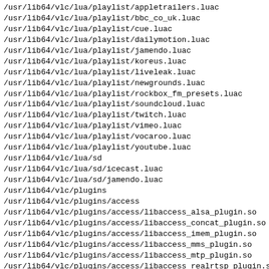/usr/lib64/vlc/lua/playlist/appletrailers.luac
/usr/lib64/vlc/lua/playlist/bbc_co_uk.luac
/usr/lib64/vlc/lua/playlist/cue.luac
/usr/lib64/vlc/lua/playlist/dailymotion.luac
/usr/lib64/vlc/lua/playlist/jamendo.luac
/usr/lib64/vlc/lua/playlist/koreus.luac
/usr/lib64/vlc/lua/playlist/liveleak.luac
/usr/lib64/vlc/lua/playlist/newgrounds.luac
/usr/lib64/vlc/lua/playlist/rockbox_fm_presets.luac
/usr/lib64/vlc/lua/playlist/soundcloud.luac
/usr/lib64/vlc/lua/playlist/twitch.luac
/usr/lib64/vlc/lua/playlist/vimeo.luac
/usr/lib64/vlc/lua/playlist/vocaroo.luac
/usr/lib64/vlc/lua/playlist/youtube.luac
/usr/lib64/vlc/lua/sd
/usr/lib64/vlc/lua/sd/icecast.luac
/usr/lib64/vlc/lua/sd/jamendo.luac
/usr/lib64/vlc/plugins
/usr/lib64/vlc/plugins/access
/usr/lib64/vlc/plugins/access/libaccess_alsa_plugin.so
/usr/lib64/vlc/plugins/access/libaccess_concat_plugin.so
/usr/lib64/vlc/plugins/access/libaccess_imem_plugin.so
/usr/lib64/vlc/plugins/access/libaccess_mms_plugin.so
/usr/lib64/vlc/plugins/access/libaccess_mtp_plugin.so
/usr/lib64/vlc/plugins/access/libaccess_realrtsp_plugin.so
/usr/lib64/vlc/plugins/access/libattachment_plugin.so
/usr/lib64/vlc/plugins/access/libcdda_plugin.so
/usr/lib64/vlc/plugins/access/libdc1394_plugin.so
/usr/lib64/vlc/plugins/access/libdtv_plugin.so
/usr/lib64/vlc/plugins/access/libdv1394_plugin.so
/usr/lib64/vlc/plugins/access/libdvb_plugin.so